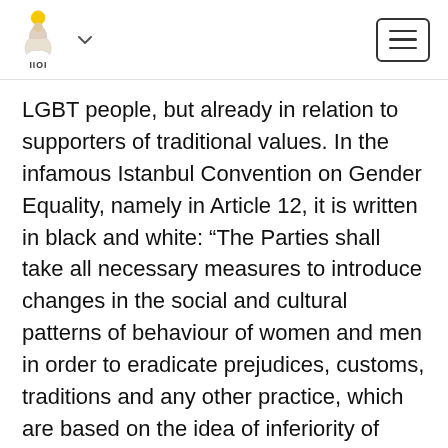[Logo with icon and chevron] [Hamburger menu button]
LGBT people, but already in relation to supporters of traditional values. In the infamous Istanbul Convention on Gender Equality, namely in Article 12, it is written in black and white: “The Parties shall take all necessary measures to introduce changes in the social and cultural patterns of behaviour of women and men in order to eradicate prejudices, customs, traditions and any other practice, which are based on the idea of inferiority of women or stereotypes about the roles of women and men.” That is, the countries that have acceded to the Istanbul Convention undertake to eradicate traditional ideas about the "role of women and men" from their societies, and, moreover, label them as